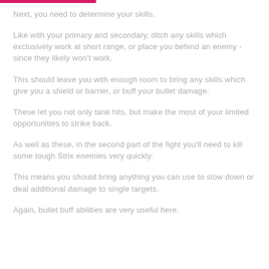Next, you need to determine your skills.
Like with your primary and secondary, ditch any skills which exclusively work at short range, or place you behind an enemy - since they likely won't work.
This should leave you with enough room to bring any skills which give you a shield or barrier, or buff your bullet damage.
These let you not only tank hits, but make the most of your limited opportunities to strike back.
As well as these, in the second part of the fight you'll need to kill some tough Strix enemies very quickly.
This means you should bring anything you can use to slow down or deal additional damage to single targets.
Again, bullet buff abilities are very useful here.